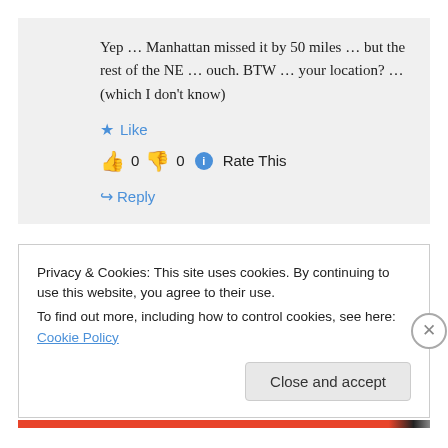Yep … Manhattan missed it by 50 miles … but the rest of the NE … ouch. BTW … your location? … (which I don't know)
★ Like
👍 0 👎 0 ℹ Rate This
↪ Reply
Privacy & Cookies: This site uses cookies. By continuing to use this website, you agree to their use.
To find out more, including how to control cookies, see here: Cookie Policy
Close and accept